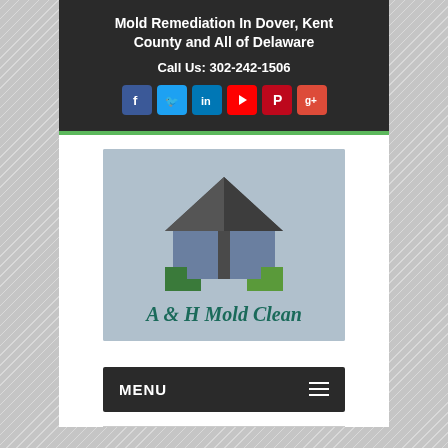Mold Remediation In Dover, Kent County and All of Delaware
Call Us: 302-242-1506
[Figure (logo): A & H Mold Clean company logo: geometric house shape in dark gray and slate blue with green accents, and the text 'A & H Mold Clean' in dark teal below the house icon, on a light blue-gray background]
MENU